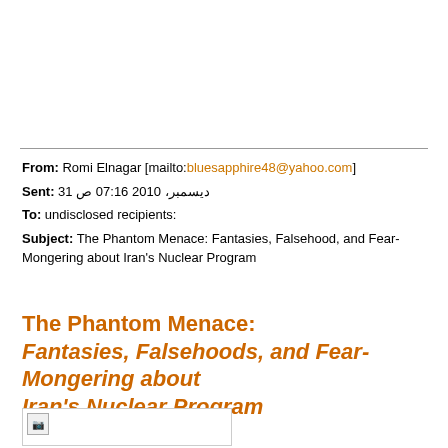From: Romi Elnagar [mailto:bluesapphire48@yahoo.com]
Sent: 31 دیسمبر، 2010 07:16 ص
To: undisclosed recipients:
Subject: The Phantom Menace: Fantasies, Falsehood, and Fear-Mongering about Iran's Nuclear Program
The Phantom Menace: Fantasies, Falsehoods, and Fear-Mongering about Iran's Nuclear Program
[Figure (photo): Small broken image placeholder icon inside a bordered box]